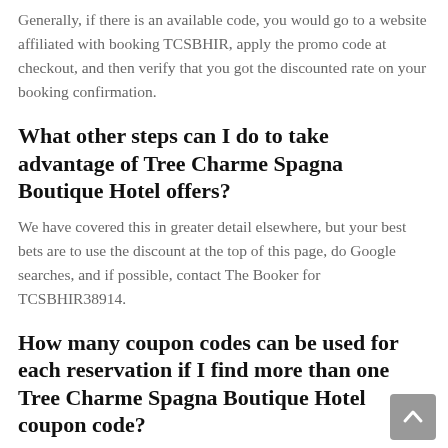Generally, if there is an available code, you would go to a website affiliated with booking TCSBHIR, apply the promo code at checkout, and then verify that you got the discounted rate on your booking confirmation.
What other steps can I do to take advantage of Tree Charme Spagna Boutique Hotel offers?
We have covered this in greater detail elsewhere, but your best bets are to use the discount at the top of this page, do Google searches, and if possible, contact The Booker for TCSBHIR38914.
How many coupon codes can be used for each reservation if I find more than one Tree Charme Spagna Boutique Hotel coupon code?
In almost every case, the policy is only one coupon code per reservation, which applies to your entire